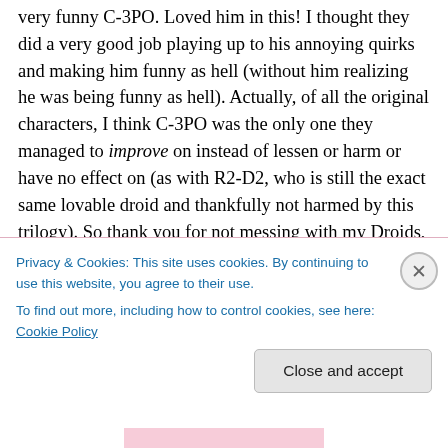very funny C-3PO. Loved him in this! I thought they did a very good job playing up to his annoying quirks and making him funny as hell (without him realizing he was being funny as hell). Actually, of all the original characters, I think C-3PO was the only one they managed to improve on instead of lessen or harm or have no effect on (as with R2-D2, who is still the exact same lovable droid and thankfully not harmed by this trilogy). So thank you for not messing with my Droids, J. J. Abrams! Oh, BB-8 is still awesome too and I liked the new addition of D-O. He's not
Privacy & Cookies: This site uses cookies. By continuing to use this website, you agree to their use.
To find out more, including how to control cookies, see here: Cookie Policy
Close and accept